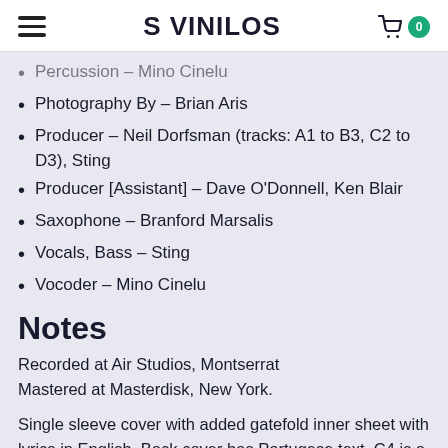S VINILOS
Percussion – Mino Cinelu
Photography By – Brian Aris
Producer – Neil Dorfsman (tracks: A1 to B3, C2 to D3), Sting
Producer [Assistant] – Dave O'Donnell, Ken Blair
Saxophone – Branford Marsalis
Vocals, Bass – Sting
Vocoder – Mino Cinelu
Notes
Recorded at Air Studios, Montserrat
Mastered at Masterdisk, New York.
Single sleeve cover with added gatefold inner sheet with lyrics in English. Back cover has Portugese text. C4 is a bonus track to this release.